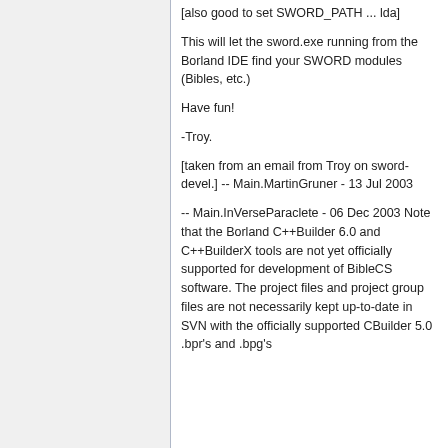[also good to set SWORD_PATH ... lda]
This will let the sword.exe running from the Borland IDE find your SWORD modules (Bibles, etc.)
Have fun!
-Troy.
[taken from an email from Troy on sword-devel.] -- Main.MartinGruner - 13 Jul 2003
-- Main.InVerseParaclete - 06 Dec 2003 Note that the Borland C++Builder 6.0 and C++BuilderX tools are not yet officially supported for development of BibleCS software. The project files and project group files are not necessarily kept up-to-date in SVN with the officially supported CBuilder 5.0 .bpr's and .bpg's